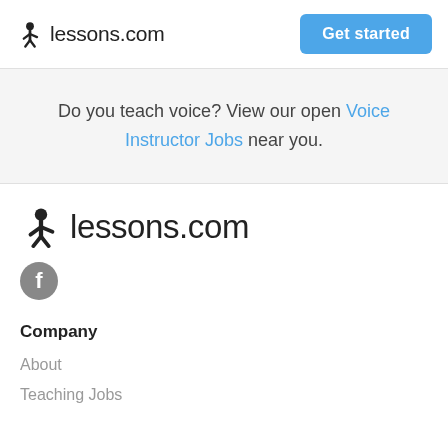lessons.com  Get started
Do you teach voice? View our open Voice Instructor Jobs near you.
[Figure (logo): lessons.com logo with star/person icon in footer area]
[Figure (logo): Facebook social media icon (grey circle with f)]
Company
About
Teaching Jobs